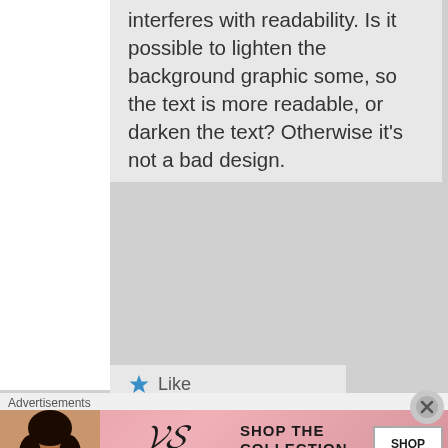interferes with readability. Is it possible to lighten the background graphic some, so the text is more readable, or darken the text? Otherwise it's not a bad design.
★ Like
Peridorito on May 25, 2015 at 4:28 pm said:
Advertisements
[Figure (photo): Victoria's Secret advertisement banner with model photo, VS logo, 'SHOP THE COLLECTION' text and 'SHOP NOW' button]